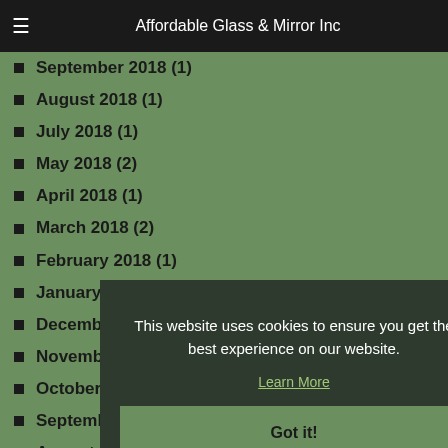Affordable Glass & Mirror Inc
September 2018 (1)
August 2018 (1)
July 2018 (1)
May 2018 (2)
April 2018 (1)
March 2018 (2)
February 2018 (1)
January 2018 (1)
December 2017 (1)
November 2017 (1)
October 2017 (2)
September 2017 (1)
August 2017 (1)
July 2017 (2)
May 2017 (4)
April 2017 (2)
March 2017 (2)
This website uses cookies to ensure you get the best experience on our website. Learn More Got it!